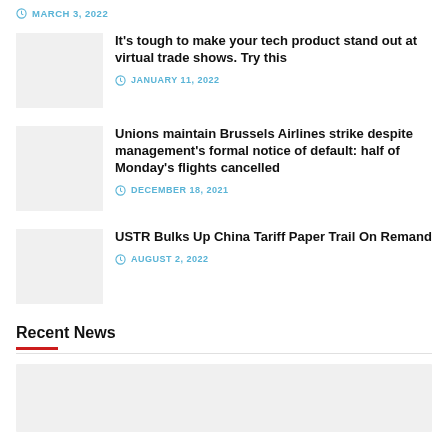MARCH 3, 2022
It's tough to make your tech product stand out at virtual trade shows. Try this
JANUARY 11, 2022
Unions maintain Brussels Airlines strike despite management's formal notice of default: half of Monday's flights cancelled
DECEMBER 18, 2021
USTR Bulks Up China Tariff Paper Trail On Remand
AUGUST 2, 2022
Recent News